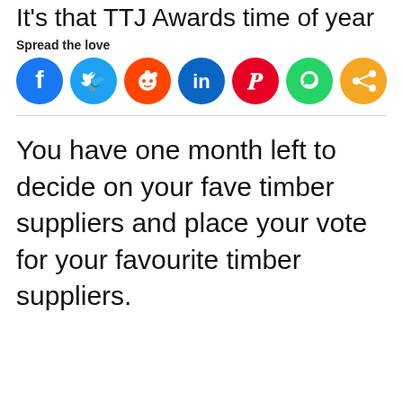It's that TTJ Awards time of year
Spread the love
[Figure (infographic): Row of social media share icons: Facebook (blue), Twitter (light blue), Reddit (orange-red), LinkedIn (dark blue), Pinterest (red), WhatsApp (green), Share (orange)]
You have one month left to decide on your fave timber suppliers and place your vote for your favourite timber suppliers.